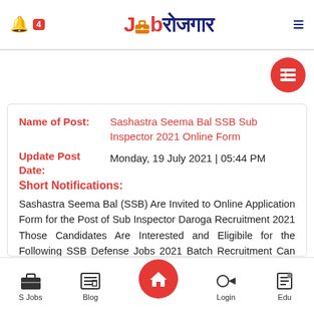Job रोजगार — mobile app header with bell icon, badge 4, logo, and hamburger menu
Name of Post: Sashastra Seema Bal SSB Sub Inspector 2021 Online Form
Update Post Date: Monday, 19 July 2021 | 05:44 PM
Short Notifications:
Sashastra Seema Bal (SSB) Are Invited to Online Application Form for the Post of Sub Inspector Daroga Recruitment 2021 Those Candidates Are Interested and Eligibile for the Following SSB Defense Jobs 2021 Batch Recruitment Can Read the Full Details Before Apply Online can.
S Jobs | Blog | Home | Login | Edu